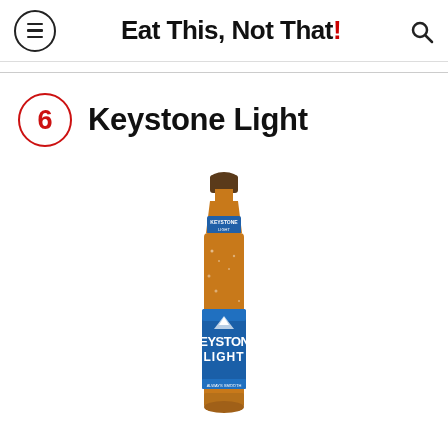Eat This, Not That!
6 Keystone Light
[Figure (photo): A Keystone Light beer bottle with amber glass, condensation droplets, and a blue label reading KEYSTONE LIGHT with mountain graphics.]